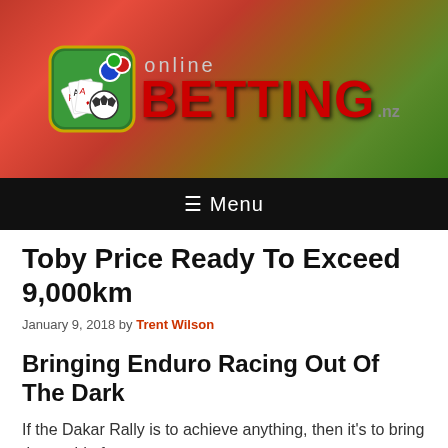[Figure (logo): Online Betting NZ logo with casino chips, playing cards, and sports ball icon on green background, with red BETTING text]
≡ Menu
Toby Price Ready To Exceed 9,000km
January 9, 2018 by Trent Wilson
Bringing Enduro Racing Out Of The Dark
If the Dakar Rally is to achieve anything, then it's to bring the world of